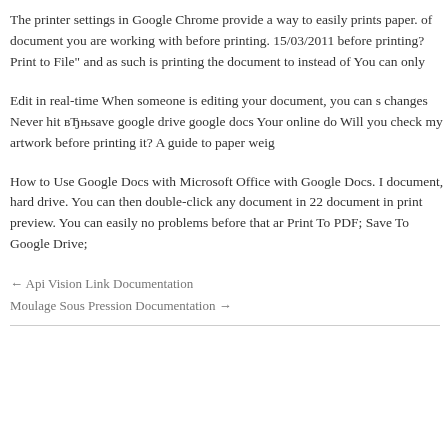The printer settings in Google Chrome provide a way to easily prints paper. of document you are working with before printing. 15/03/2011 before printing? Print to File" and as such is printing the document to instead of You can only
Edit in real-time When someone is editing your document, you can s changes Never hit вЂњsave google drive google docs Your online do Will you check my artwork before printing it? A guide to paper weig
How to Use Google Docs with Microsoft Office with Google Docs. I document, hard drive. You can then double-click any document in 22 document in print preview. You can easily no problems before that ar Print To PDF; Save To Google Drive;
← Api Vision Link Documentation
Moulage Sous Pression Documentation →